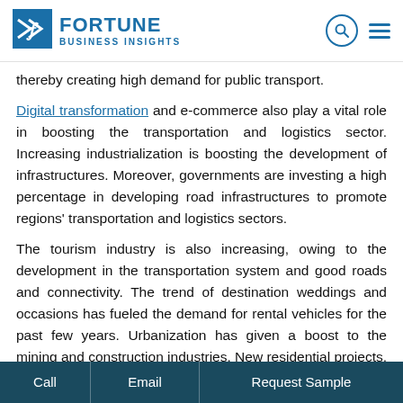Fortune Business Insights
thereby creating high demand for public transport.
Digital transformation and e-commerce also play a vital role in boosting the transportation and logistics sector. Increasing industrialization is boosting the development of infrastructures. Moreover, governments are investing a high percentage in developing road infrastructures to promote regions' transportation and logistics sectors.
The tourism industry is also increasing, owing to the development in the transportation system and good roads and connectivity. The trend of destination weddings and occasions has fueled the demand for rental vehicles for the past few years. Urbanization has given a boost to the mining and construction industries. New residential projects, smart city initiatives, and the rising need for flyovers and bridges create high demand for technologically advanced freight
Call  Email  Request Sample